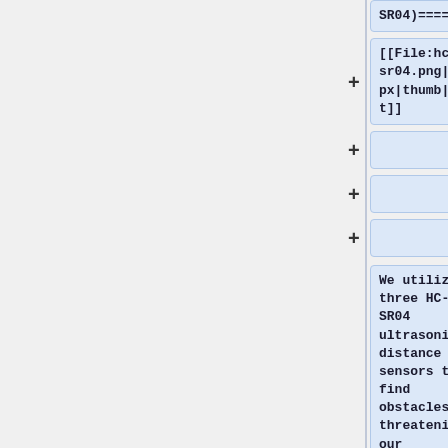SR04)====
[[File:hc-sr04.png|200px|thumb|left]]
We utilized three HC-SR04 ultrasonic distance sensors to find obstacles threatening our vehicle's